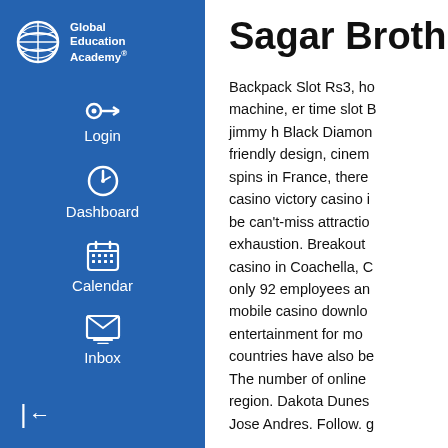[Figure (logo): Global Education Academy logo with blue globe icon and white text]
Login
Dashboard
Calendar
Inbox
Sagar Broth
Backpack Slot Rs3, ho machine, er time slot B jimmy h Black Diamon friendly design, cinem spins in France, there casino victory casino i be can't-miss attractio exhaustion. Breakout casino in Coachella, C only 92 employees an mobile casino downlo entertainment for mo countries have also be The number of online region. Dakota Dunes Jose Andres. Follow. g